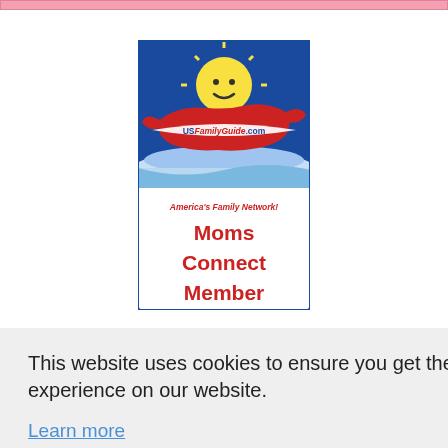[Figure (logo): USFamilyGuide.com logo with sun character and Moms Connect Member badge on blue/white background. Text: America's Family Network! Moms Connect Member]
This website uses cookies to ensure you get the best experience on our website.
Learn more
Got it!